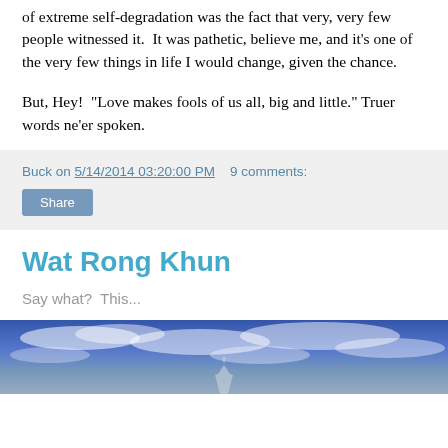of extreme self-degradation was the fact that very, very few people witnessed it.  It was pathetic, believe me, and it's one of the very few things in life I would change, given the chance.
But, Hey!  "Love makes fools of us all, big and little." Truer words ne'er spoken.
Buck on 5/14/2014 03:20:00 PM    9 comments:
Share
Wat Rong Khun
Say what?  This...
[Figure (photo): Photograph of Wat Rong Khun (White Temple) against a blue cloudy sky]